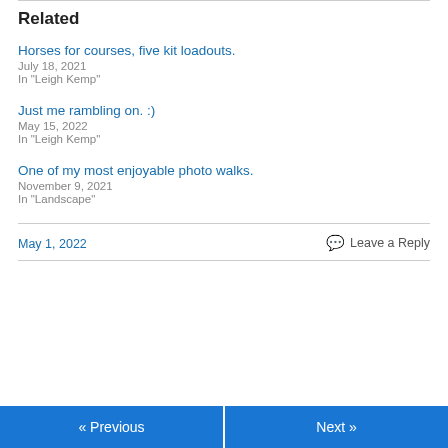Related
Horses for courses, five kit loadouts.
July 18, 2021
In "Leigh Kemp"
Just me rambling on. :)
May 15, 2022
In "Leigh Kemp"
One of my most enjoyable photo walks.
November 9, 2021
In "Landscape"
May 1, 2022
Leave a Reply
« Previous
Next »